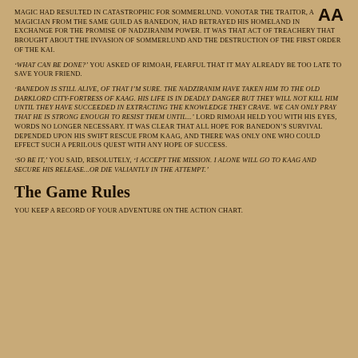magic had resulted in catastrophic for Sommerlund. Vonotar the Traitor, a magician from the same guild as Banedon, had betrayed his homeland in exchange for the promise of Nadziranim power. It was that act of treachery that brought about the invasion of Sommerlund and the destruction of the First Order of the Kai.
'What can be done?' you asked of Rimoah, fearful that it may already be too late to save your friend.
'Banedon is still alive, of that I'm sure. The Nadziranim have taken him to the old Darklord city-fortress of Kaag. His life is in deadly danger but they will not kill him until they have succeeded in extracting the knowledge they crave. We can only pray that he is strong enough to resist them until...' Lord Rimoah held you with his eyes, words no longer necessary. It was clear that all hope for Banedon's survival depended upon his swift rescue from Kaag, and there was only one who could effect such a perilous quest with any hope of success.
'So be it,' you said, resolutely, 'I accept the mission. I alone will go to Kaag and secure his release...or die valiantly in the attempt.'
The Game Rules
You keep a record of your adventure on the Action Chart.